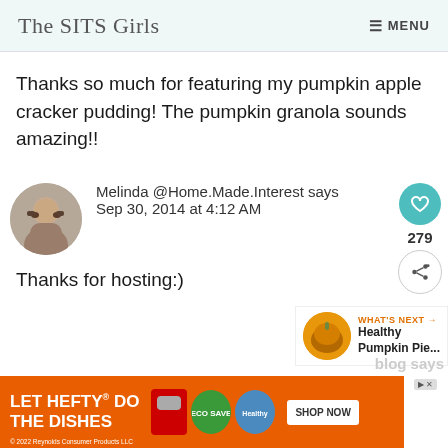The SITS Girls  MENU
Thanks so much for featuring my pumpkin apple cracker pudding! The pumpkin granola sounds amazing!!
Melinda @Home.Made.Interest says Sep 30, 2014 at 4:12 AM
Thanks for hosting:)
WHAT'S NEXT → Healthy Pumpkin Pie...
[Figure (screenshot): Advertisement banner: LET HEFTY DO THE DISHES with product images and SHOP NOW button. © 2022 Reynolds Consumer Products LLC]